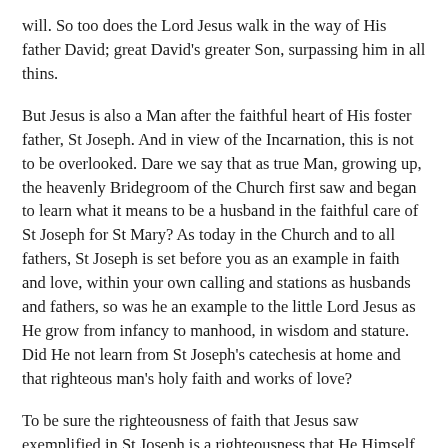will.  So too does the Lord Jesus walk in the way of His father David; great David's greater Son, surpassing him in all thins.
But Jesus is also a Man after the faithful heart of His foster father, St Joseph.  And in view of the Incarnation, this is not to be overlooked.  Dare we say that as true Man, growing up, the heavenly Bridegroom of the Church first saw and began to learn what it means to be a husband in the faithful care of St Joseph for St Mary?  As today in the Church and to all fathers, St Joseph is set before you as an example in faith and love, within your own calling and stations as husbands and fathers, so was he an example to the little Lord Jesus as He grow from infancy to manhood, in wisdom and stature.  Did He not learn from St Joseph's catechesis at home and that righteous man's holy faith and works of love?
To be sure the righteousness of faith that Jesus saw exemplified in St Joseph is a righteousness that He Himself and no one else has fulfilled and completed to perfect.  In His life of humble obedience, by His death upon the Cross, in faith toward God and in love for all mankind, and in His resurrection from the dead as the Firstfruits of the